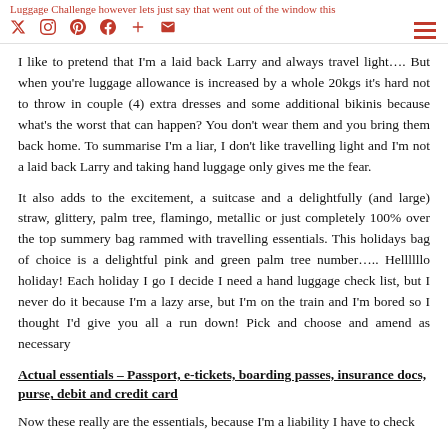Luggage Challenge however lets just say that went out of the window this
I like to pretend that I'm a laid back Larry and always travel light…. But when you're luggage allowance is increased by a whole 20kgs it's hard not to throw in couple (4) extra dresses and some additional bikinis because what's the worst that can happen? You don't wear them and you bring them back home. To summarise I'm a liar, I don't like travelling light and I'm not a laid back Larry and taking hand luggage only gives me the fear.
It also adds to the excitement, a suitcase and a delightfully (and large) straw, glittery, palm tree, flamingo, metallic or just completely 100% over the top summery bag rammed with travelling essentials. This holidays bag of choice is a delightful pink and green palm tree number….. Hellllllo holiday! Each holiday I go I decide I need a hand luggage check list, but I never do it because I'm a lazy arse, but I'm on the train and I'm bored so I thought I'd give you all a run down! Pick and choose and amend as necessary
Actual essentials – Passport, e-tickets, boarding passes, insurance docs, purse, debit and credit card
Now these really are the essentials, because I'm a liability I have to check